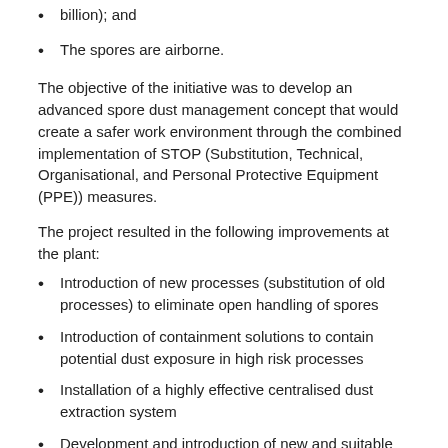billion); and
The spores are airborne.
The objective of the initiative was to develop an advanced spore dust management concept that would create a safer work environment through the combined implementation of STOP (Substitution, Technical, Organisational, and Personal Protective Equipment (PPE)) measures.
The project resulted in the following improvements at the plant:
Introduction of new processes (substitution of old processes) to eliminate open handling of spores
Introduction of containment solutions to contain potential dust exposure in high risk processes
Installation of a highly effective centralised dust extraction system
Development and introduction of new and suitable environmental monitoring solutions (to monitor spore dust levels)
Development of accepted Occupational Exposure Limits (OEL) for definition of control measures required in different